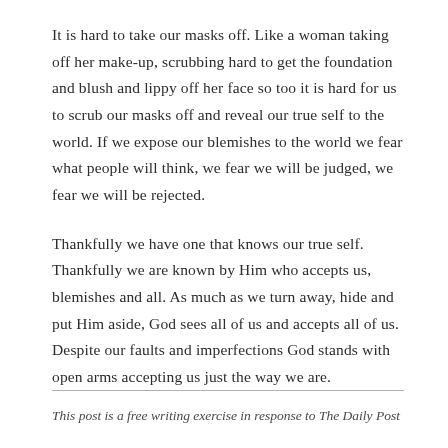It is hard to take our masks off. Like a woman taking off her make-up, scrubbing hard to get the foundation and blush and lippy off her face so too it is hard for us to scrub our masks off and reveal our true self to the world. If we expose our blemishes to the world we fear what people will think, we fear we will be judged, we fear we will be rejected.
Thankfully we have one that knows our true self. Thankfully we are known by Him who accepts us, blemishes and all. As much as we turn away, hide and put Him aside, God sees all of us and accepts all of us. Despite our faults and imperfections God stands with open arms accepting us just the way we are.
This post is a free writing exercise in response to The Daily Post